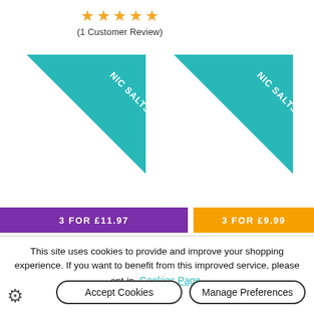[Figure (other): 5 orange star rating icons]
(1 Customer Review)
[Figure (other): NIC SALTS teal ribbon badge on left product]
[Figure (other): NIC SALTS teal ribbon badge on right product]
3 FOR £11.97
3 FOR £9.99
This site uses cookies to provide and improve your shopping experience. If you want to benefit from this improved service, please opt-in. Cookies Page.
Accept Cookies
Manage Preferences